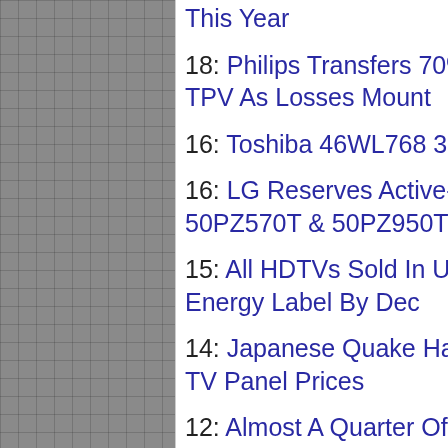This Year
18: Philips Transfers 70% Stake In TV Arm To LCD Maker TPV As Losses Mount
16: Toshiba 46WL768 3D LED LCD TV Review
16: LG Reserves Active-Shutter 3D For Plasma TVs Like 50PZ570T & 50PZ950T
15: All HDTVs Sold In UK Legally Required To Carry EU Energy Label By Dec
14: Japanese Quake Had Minimal Impact On Declining LCD TV Panel Prices
12: Almost A Quarter Of All TVs Sold In USA Are LED-Backlit LCD TV Models
12: LG 42LW550T & 42LW650T